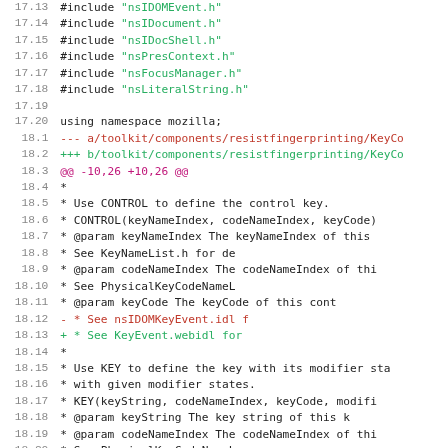[Figure (screenshot): Source code diff screenshot showing C++ include statements and diff hunks for resistfingerprinting KeyCode file, with line numbers, removed lines in red, added lines in green, and diff headers in magenta/red/green.]